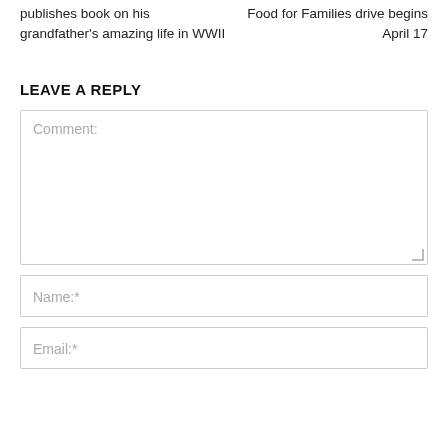publishes book on his grandfather's amazing life in WWII
Food for Families drive begins April 17
LEAVE A REPLY
Comment:
Name:*
Email:*